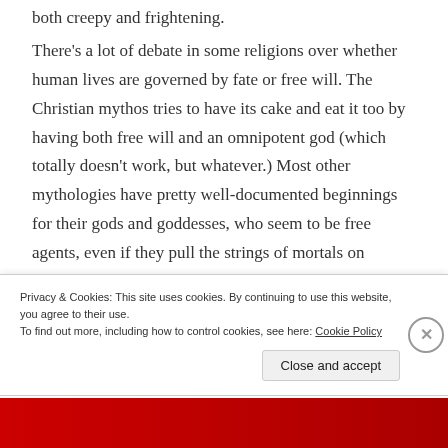both creepy and frightening.

There's a lot of debate in some religions over whether human lives are governed by fate or free will. The Christian mythos tries to have its cake and eat it too by having both free will and an omnipotent god (which totally doesn't work, but whatever.) Most other mythologies have pretty well-documented beginnings for their gods and goddesses, who seem to be free agents, even if they pull the strings of mortals on
Privacy & Cookies: This site uses cookies. By continuing to use this website, you agree to their use.
To find out more, including how to control cookies, see here: Cookie Policy